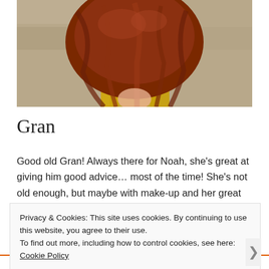[Figure (photo): A person with long wavy auburn/red hair seen from behind, wearing a yellow top, against a stone wall background.]
Gran
Good old Gran! Always there for Noah, she's great at giving him good advice… most of the time! She's not old enough, but maybe with make-up and her great acting skills Julie Walters would be a good
Privacy & Cookies: This site uses cookies. By continuing to use this website, you agree to their use.
To find out more, including how to control cookies, see here: Cookie Policy
Close and accept